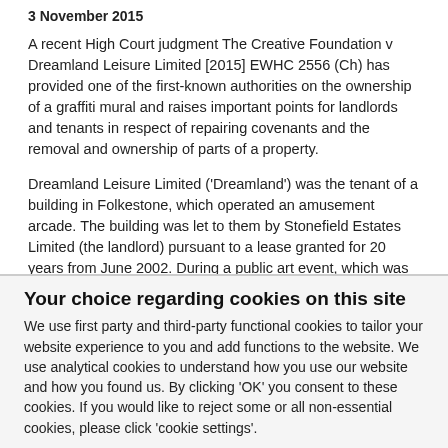3 November 2015
A recent High Court judgment The Creative Foundation v Dreamland Leisure Limited [2015] EWHC 2556 (Ch) has provided one of the first-known authorities on the ownership of a graffiti mural and raises important points for landlords and tenants in respect of repairing covenants and the removal and ownership of parts of a property.
Dreamland Leisure Limited ('Dreamland') was the tenant of a building in Folkestone, which operated an amusement arcade. The building was let to them by Stonefield Estates Limited (the landlord) pursuant to a lease granted for 20 years from June 2002. During a public art event, which was organised by The Creative Foundation ('Foundation')
Your choice regarding cookies on this site
We use first party and third-party functional cookies to tailor your website experience to you and add functions to the website. We use analytical cookies to understand how you use our website and how you found us. By clicking 'OK' you consent to these cookies. If you would like to reject some or all non-essential cookies, please click 'cookie settings'.